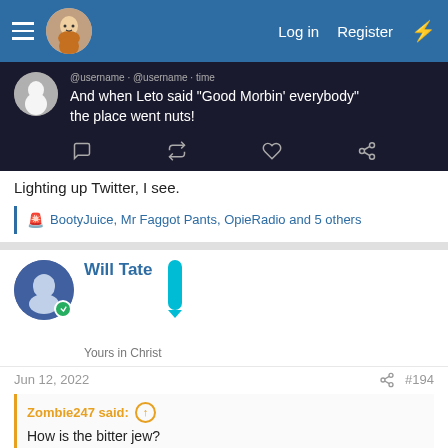Log in  Register
[Figure (screenshot): Tweet screenshot on dark background: text reads 'And when Leto said "Good Morbin' everybody" the place went nuts!' with tweet action icons below]
Lighting up Twitter, I see.
BootyJuice, Mr Faggot Pants, OpieRadio and 5 others
Will Tate
Yours in Christ
Jun 12, 2022  #194
Zombie247 said:
How is the bitter jew?
View attachment 47479